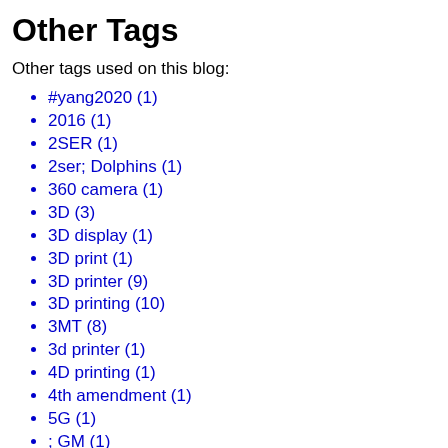Other Tags
Other tags used on this blog:
#yang2020 (1)
2016 (1)
2SER (1)
2ser; Dolphins (1)
360 camera (1)
3D (3)
3D display (1)
3D print (1)
3D printer (9)
3D printing (10)
3MT (8)
3d printer (1)
4D printing (1)
4th amendment (1)
5G (1)
; GM (1)
; brain (1)
; glucosamine (1)
; solar therma (1)
; valve (1)